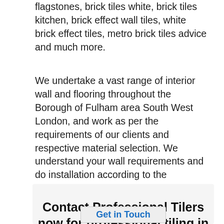flagstones, brick tiles white, brick tiles kitchen, brick effect wall tiles, white brick effect tiles, metro brick tiles advice and much more.
We undertake a vast range of interior wall and flooring throughout the Borough of Fulham area South West London, and work as per the requirements of our clients and respective material selection. We understand your wall requirements and do installation according to the designing and interior.
Contact Professional Tilers now for professional tiling in Fulham South West London, or to acquire more information about our tiling services in all London Areas.
Get in Touch